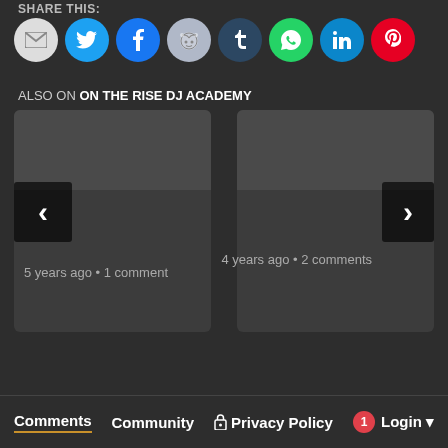Share this:
[Figure (infographic): Row of 8 circular social share buttons: Email (grey), Twitter (blue), Facebook (blue), Reddit (light grey-blue), Tumblr (dark blue), WhatsApp (green), LinkedIn (blue), Pinterest (red)]
ALSO ON ON THE RISE DJ ACADEMY
[Figure (screenshot): Two article card thumbnails side by side with left and right navigation arrows. Left card shows '5 years ago • 1 comment', right card shows '4 years ago • 2 comments'. Cards have dark grey image placeholders on top.]
Comments   Community   Privacy Policy   1   Login